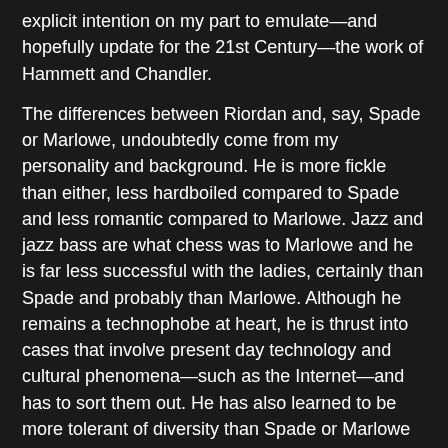explicit intention on my part to emulate—and hopefully update for the 21st Century—the work of Hammett and Chandler.
The differences between Riordan and, say, Spade or Marlowe, undoubtedly come from my personality and background. He is more fickle than either, less hardboiled compared to Spade and less romantic compared to Marlowe. Jazz and jazz bass are what chess was to Marlowe and he is far less successful with the ladies, certainly than Spade and probably than Marlowe. Although he remains a technophobe at heart, he is thrust into cases that involve present day technology and cultural phenomena—such as the Internet—and has to sort them out. He has also learned to be more tolerant of diversity than Spade or Marlowe ever were.
His sense of humor is closer to Marlowe's, but he's got a goofier bent to his, and he dresses worse than either. He might be able to out-drink the other two men, but I wouldn't give good odds on him in a fist fight.